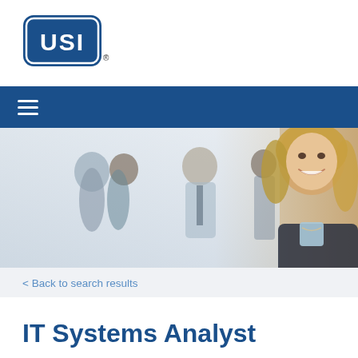[Figure (logo): USI logo - rounded rectangle border with USI text in white on blue background]
[Figure (photo): Hero banner photo showing business professionals in an office setting; a smiling blonde woman in foreground wearing dark jacket, with colleagues in background]
< Back to search results
IT Systems Analyst